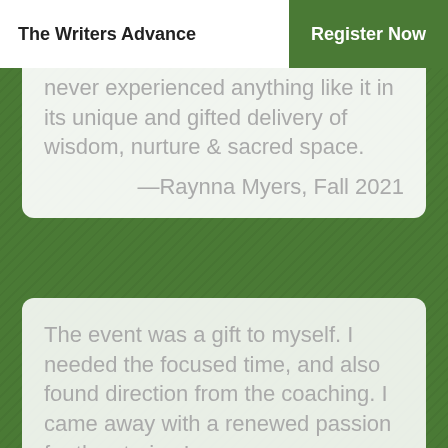The Writers Advance
Register Now
never experienced anything like it in its unique and gifted delivery of wisdom, nurture & sacred space.
—Raynna Myers, Fall 2021
The event was a gift to myself. I needed the focused time, and also found direction from the coaching. I came away with a renewed passion for the stories I